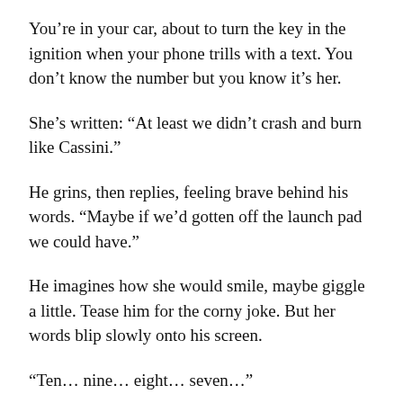You're in your car, about to turn the key in the ignition when your phone trills with a text. You don't know the number but you know it's her.
She's written: “At least we didn't crash and burn like Cassini.”
He grins, then replies, feeling brave behind his words. “Maybe if we'd gotten off the launch pad we could have.”
He imagines how she would smile, maybe giggle a little. Tease him for the corny joke. But her words blip slowly onto his screen.
“Ten… nine… eight… seven…”